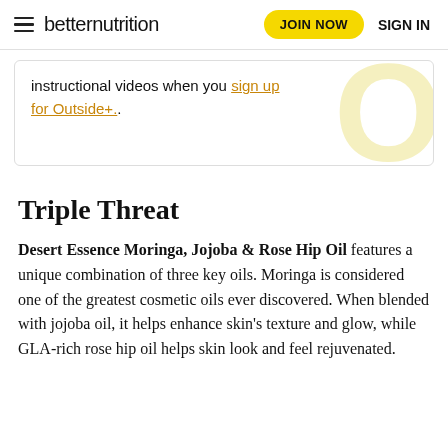≡ betternutrition  JOIN NOW  SIGN IN
instructional videos when you sign up for Outside+..
Triple Threat
Desert Essence Moringa, Jojoba & Rose Hip Oil features a unique combination of three key oils. Moringa is considered one of the greatest cosmetic oils ever discovered. When blended with jojoba oil, it helps enhance skin's texture and glow, while GLA-rich rose hip oil helps skin look and feel rejuvenated.